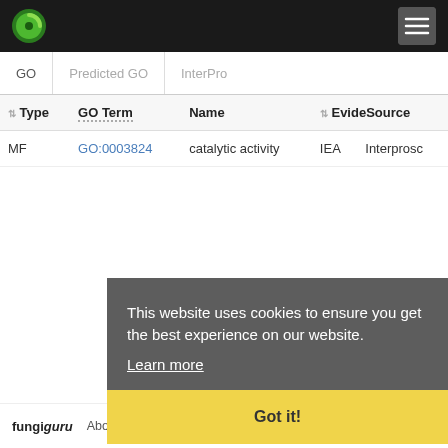[Figure (logo): Green circular logo icon in top-left of dark navigation bar]
[Figure (other): Hamburger menu icon (three white lines) in top-right of dark navigation bar]
| Type | GO Term | Name | Evidence | Source |
| --- | --- | --- | --- | --- |
| MF | GO:0003824 | catalytic activity | IEA | Interpro... |
This website uses cookies to ensure you get the best experience on our website.
Learn more
Got it!
Toggle parental
fungiguru   About   Contact   Disclaimer   Privacy policy